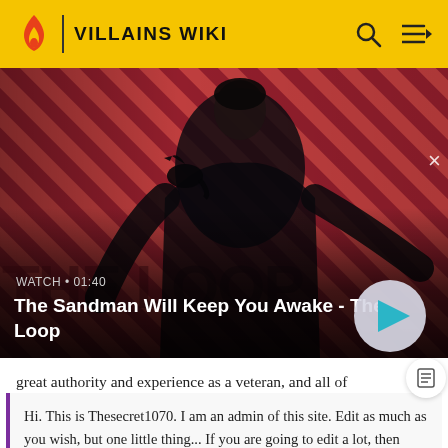VILLAINS WIKI
[Figure (screenshot): Video thumbnail for 'The Sandman Will Keep You Awake - The Loop' showing a dark figure with a raven on shoulder against a red diagonal striped background. Watch time shown as 01:40.]
WATCH • 01:40
The Sandman Will Keep You Awake - The Loop
great authority and experience as a veteran, and all of
Hi. This is Thesecret1070. I am an admin of this site. Edit as much as you wish, but one little thing... If you are going to edit a lot, then make yourself a user and login. Other than that, enjoy Villains Wiki!!!